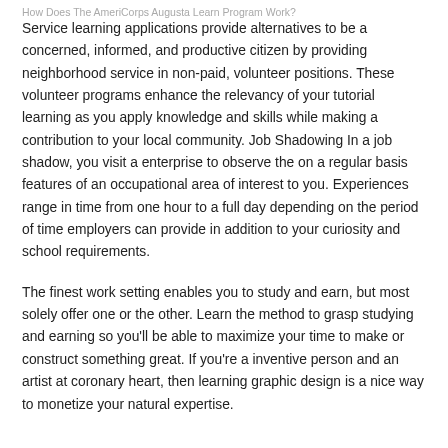How Does The AmeriCorps Augusta Learn Program Work?
Service learning applications provide alternatives to be a concerned, informed, and productive citizen by providing neighborhood service in non-paid, volunteer positions. These volunteer programs enhance the relevancy of your tutorial learning as you apply knowledge and skills while making a contribution to your local community. Job Shadowing In a job shadow, you visit a enterprise to observe the on a regular basis features of an occupational area of interest to you. Experiences range in time from one hour to a full day depending on the period of time employers can provide in addition to your curiosity and school requirements.
The finest work setting enables you to study and earn, but most solely offer one or the other. Learn the method to grasp studying and earning so you'll be able to maximize your time to make or construct something great. If you're a inventive person and an artist at coronary heart, then learning graphic design is a nice way to monetize your natural expertise.